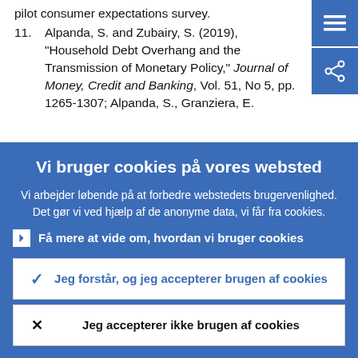pilot consumer expectations survey.
11. Alpanda, S. and Zubairy, S. (2019), "Household Debt Overhang and the Transmission of Monetary Policy," Journal of Money, Credit and Banking, Vol. 51, No 5, pp. 1265-1307; Alpanda, S., Granziera, E.
[Figure (screenshot): Navigation icons: hamburger menu and share button in blue squares]
Vi bruger cookies på vores websted
Vi arbejder løbende på at forbedre webstedets brugervenlighed. Det gør vi ved hjælp af de anonyme data, vi får fra cookies.
› Få mere at vide om, hvordan vi bruger cookies
✓ Jeg forstår, og jeg accepterer brugen af cookies
✗ Jeg accepterer ikke brugen af cookies